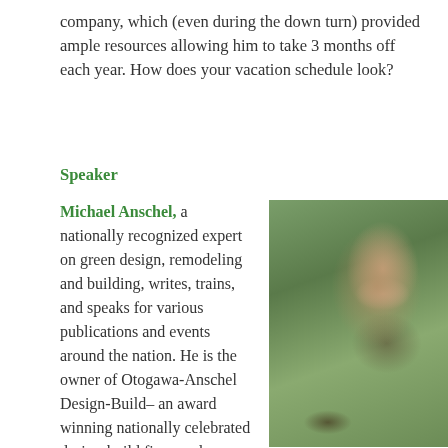company, which (even during the down turn) provided ample resources allowing him to take 3 months off each year. How does your vacation schedule look?
Speaker
Michael Anschel, a nationally recognized expert on green design, remodeling and building, writes, trains, and speaks for various publications and events around the nation. He is the owner of Otogawa-Anschel Design-Build– an award winning nationally celebrated design-build firm–and
[Figure (photo): Photo of Michael Anschel, a man sitting outdoors on a porch/deck, smiling and gesturing with his hands, wearing a dark olive/grey sweater, with green trees in the background.]